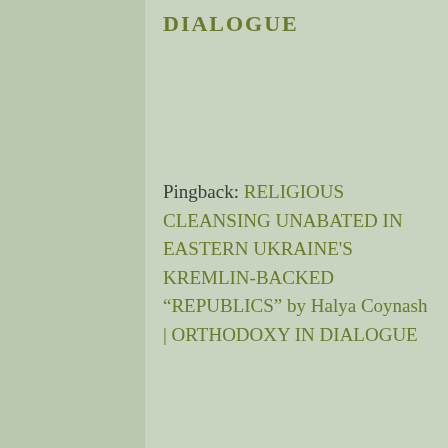DIALOGUE
Pingback: RELIGIOUS CLEANSING UNABATED IN EASTERN UKRAINE'S KREMLIN-BACKED “REPUBLICS” by Halya Coynash | ORTHODOXY IN DIALOGUE